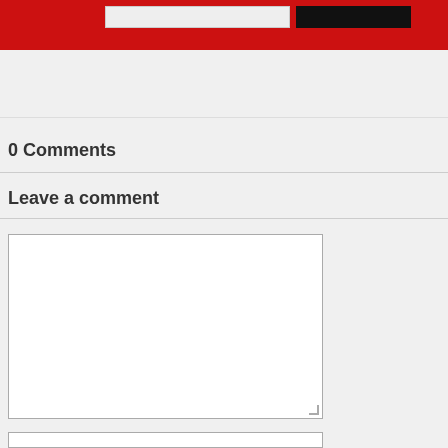[Figure (screenshot): Red navigation bar with search input and black button]
<< previous   next >>
0 Comments
Leave a comment
[Figure (screenshot): Large white textarea comment input box]
[Figure (screenshot): Second input field at bottom]